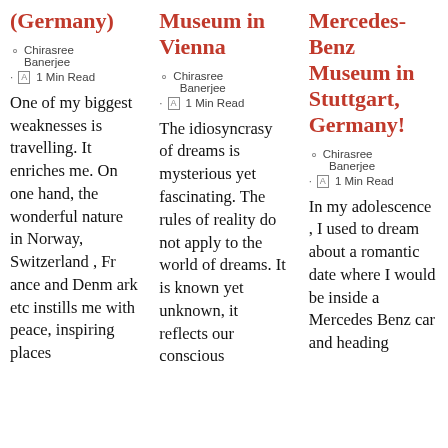(Germany)
Chirasree Banerjee
1 Min Read
One of my biggest weaknesses is travelling. It enriches me. On one hand, the wonderful nature in Norway, Switzerland , France and Denmark etc instills me with peace, inspiring places
Museum in Vienna
Chirasree Banerjee
1 Min Read
The idiosyncrasy of dreams is mysterious yet fascinating. The rules of reality do not apply to the world of dreams. It is known yet unknown, it reflects our conscious
Mercedes-Benz Museum in Stuttgart, Germany!
Chirasree Banerjee
1 Min Read
In my adolescence, I used to dream about a romantic date where I would be inside a Mercedes Benz car and heading